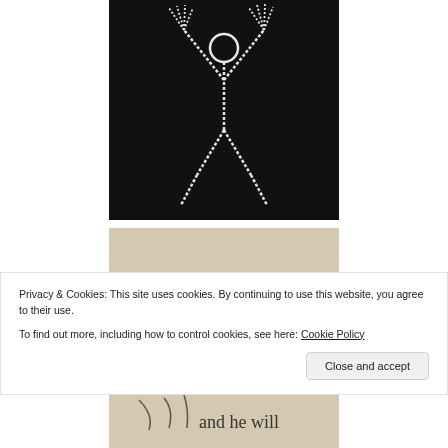[Figure (photo): Embroidered figure of a person with arms raised on a black fabric background, stitched in white thread]
[Figure (photo): Close-up of light beige/linen fabric with handwritten text partially visible reading 'John 14:16']
Privacy & Cookies: This site uses cookies. By continuing to use this website, you agree to their use.
To find out more, including how to control cookies, see here: Cookie Policy
Close and accept
[Figure (photo): Close-up of light beige/linen fabric with stitched text partially visible reading 'and he will']